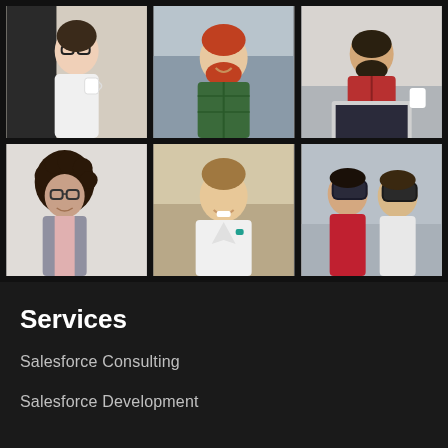[Figure (photo): Grid of 6 professional stock photos showing diverse people in work and technology settings]
Services
Salesforce Consulting
Salesforce Development